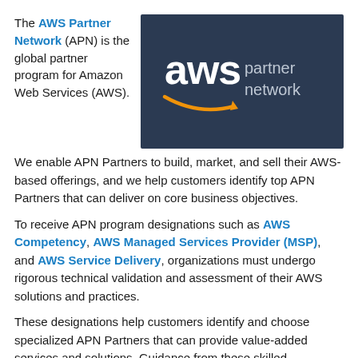The AWS Partner Network (APN) is the global partner program for Amazon Web Services (AWS).
[Figure (logo): AWS Partner Network logo on dark navy background. Shows 'aws' in white lowercase with orange arrow/smile, and 'partner network' in light gray text to the right.]
We enable APN Partners to build, market, and sell their AWS-based offerings, and we help customers identify top APN Partners that can deliver on core business objectives.
To receive APN program designations such as AWS Competency, AWS Managed Services Provider (MSP), and AWS Service Delivery, organizations must undergo rigorous technical validation and assessment of their AWS solutions and practices.
These designations help customers identify and choose specialized APN Partners that can provide value-added services and solutions. Guidance from these skilled professionals can leads to better business and bigger results.